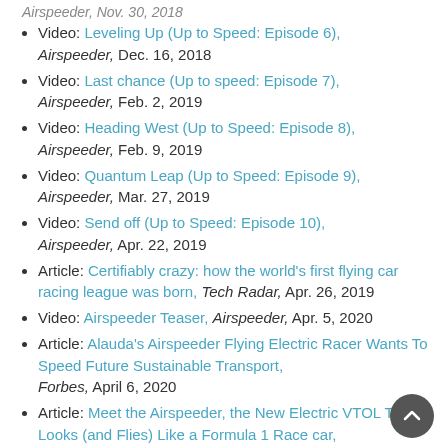Video: Leveling Up (Up to Speed: Episode 6), Airspeeder, Dec. 16, 2018
Video: Last chance (Up to speed: Episode 7), Airspeeder, Feb. 2, 2019
Video: Heading West (Up to Speed: Episode 8), Airspeeder, Feb. 9, 2019
Video: Quantum Leap (Up to Speed: Episode 9), Airspeeder, Mar. 27, 2019
Video: Send off (Up to Speed: Episode 10), Airspeeder, Apr. 22, 2019
Article: Certifiably crazy: how the world's first flying car racing league was born, Tech Radar, Apr. 26, 2019
Video: Airspeeder Teaser, Airspeeder, Apr. 5, 2020
Article: Alauda's Airspeeder Flying Electric Racer Wants To Speed Future Sustainable Transport, Forbes, April 6, 2020
Article: Meet the Airspeeder, the New Electric VTOL That Looks (and Flies) Like a Formula 1 Race car, Robb Report, Apr. 21, 2020
Article: Airspeeder flying cars will be the F1 of the sky...